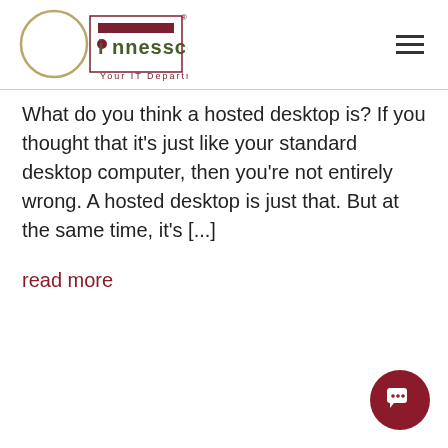[Figure (logo): Innessco logo with circle and company name 'innessco - Your IT Department']
What do you think a hosted desktop is? If you thought that it's just like your standard desktop computer, then you're not entirely wrong. A hosted desktop is just that. But at the same time, it's [...]
read more